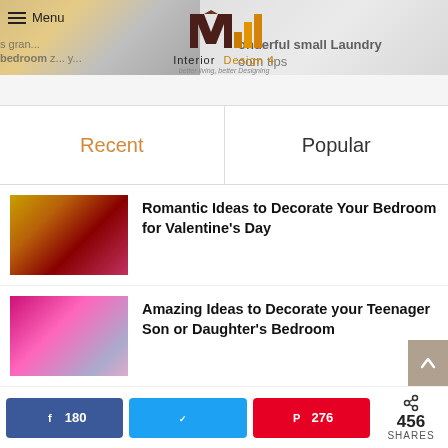[Figure (screenshot): Website header with logo 'Interior Design 4 - better living, better Designing', hamburger menu, and partial article images at top]
Recent
Popular
[Figure (photo): Romantic bedroom decorated for Valentine's Day with red and gold tones]
Romantic Ideas to Decorate Your Bedroom for Valentine's Day
[Figure (photo): Teenager bedroom decorated in pink and purple tones]
Amazing Ideas to Decorate your Teenager Son or Daughter's Bedroom
[Figure (photo): Small room remodeling idea]
4 Great Ideas for Remodeling Small
180
276
456 SHARES